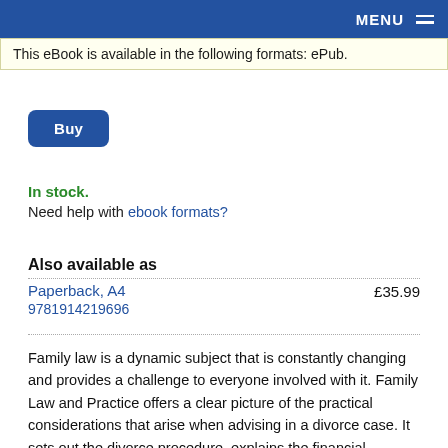MENU
This eBook is available in the following formats: ePub.
Buy
In stock.
Need help with ebook formats?
Also available as
| Format | Price |
| --- | --- |
| Paperback, A4
9781914219696 | £35.99 |
Family law is a dynamic subject that is constantly changing and provides a challenge to everyone involved with it. Family Law and Practice offers a clear picture of the practical considerations that arise when advising in a divorce case. It sets out the divorce procedure, explains the financial implications of divorce and includes advice on ensuring that clients receive the money that they are owed. The book also outlines the principles governing the care and protection of children, the remedies available for victims of